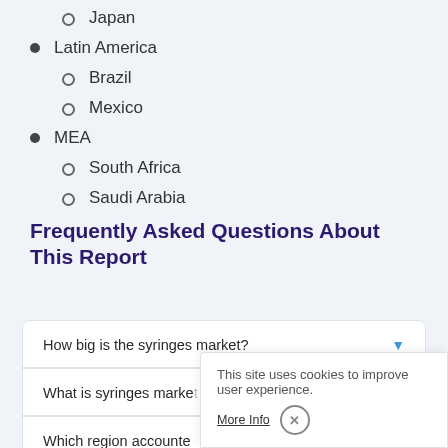Japan
Latin America
Brazil
Mexico
MEA
South Africa
Saudi Arabia
Frequently Asked Questions About This Report
How big is the syringes market?
What is syringes market growth?
Which region accounte...